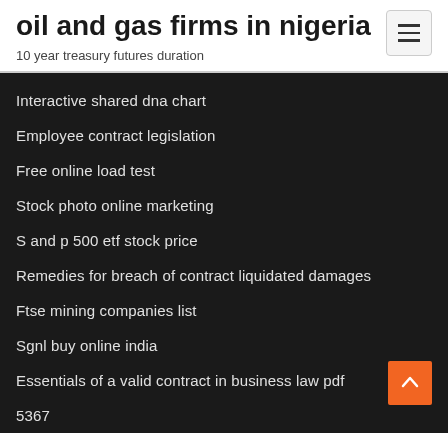oil and gas firms in nigeria
10 year treasury futures duration
Interactive shared dna chart
Employee contract legislation
Free online load test
Stock photo online marketing
S and p 500 etf stock price
Remedies for breach of contract liquidated damages
Ftse mining companies list
Sgnl buy online india
Essentials of a valid contract in business law pdf
5367